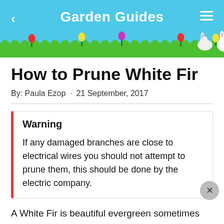Garden Guides
How to Prune White Fir
By: Paula Ezop · 21 September, 2017
Warning

If any damaged branches are close to electrical wires you should not attempt to prune them, this should be done by the electric company.
A White Fir is beautiful evergreen sometimes called the Concolor Fir. Concolor is in reference to its uniform color. The 1 ½ to 2 ½ inch long needles (longest needles of the fir family) are a pale blue green color. It